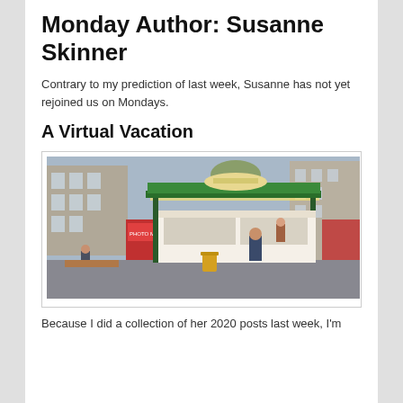Monday Author: Susanne Skinner
Contrary to my prediction of last week, Susanne has not yet rejoined us on Mondays.
A Virtual Vacation
[Figure (photo): Outdoor street kiosk/food stall with green roof structure, a person standing at the counter, another person sitting nearby, urban buildings in background, yellow trash can visible.]
Because I did a collection of her 2020 posts last week, I'm